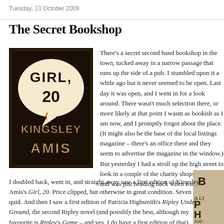Tuesday, 13 October 2009
The Secret Bookshop
[Figure (photo): Book cover of 'Girl, 20' by Kingsley Amis — dark background with stylized speech-bubble lettering]
There's a secret second hand bookshop in the town, tucked away in a narrow passage that runs up the side of a pub. I stumbled upon it a while ago but it never seemed to be open. Last day it was open, and I went in for a look around. There wasn't much selection there, or more likely at that point I wasn't as bookish as I am now, and I promptly forgot about the place. (It might also be the base of the local listings magazine – there's an office there and they seem to advertise the magazine in the window.) But yesterday I had a stroll up the high street to look in a couple of the charity shops in town, and was just heading back when I suddenly
I doubled back, went in, and straight away saw a first edition of Kingsley Amis's Girl, 20. Price clipped, but otherwise in great condition. Seven quid. And then I saw a first edition of Patricia Highsmith's Ripley Under Ground, the second Ripley novel (and possibly the best, although my favourite is Ripley's Game – and yes, I do have a first edition of that). Now, I already have a first of Ripley Under Ground, but this was a nicer copy – my copy has a sunned (faded) spine, which is typical of this book, but this
[Figure (photo): Partial view of another book cover on the right side, partially cropped]